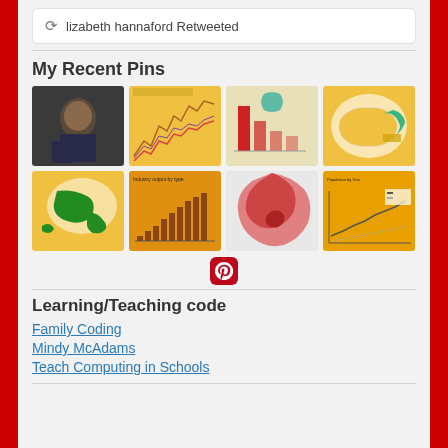lizabeth hannaford Retweeted
My Recent Pins
[Figure (screenshot): Grid of 8 Pinterest pin thumbnails: a photo of a person, line charts on yellow background, bar chart with dinosaur on beige, world map on yellow, map with green regions on yellow, bar chart on dark yellow, red/pink map of Europe, line chart on dark yellow]
Learning/Teaching code
Family Coding
Mindy McAdams
Teach Computing in Schools